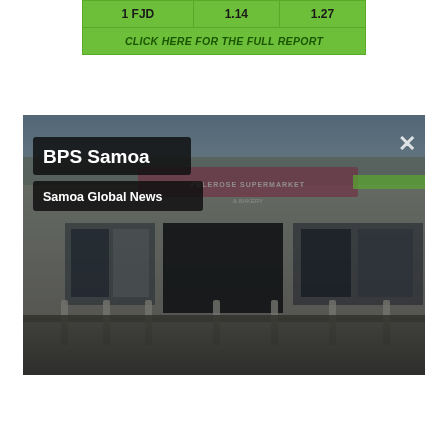| 1 FJD | 1.14 | 1.27 |
| --- | --- | --- |
CLICK HERE FOR THE FULL REPORT
[Figure (photo): Photo of Pelerose Supermarket & Bakery storefront, shown in a dark-tinted overlay with 'BPS Samoa' and 'Samoa Global News' labels overlaid on the top-left, and an X close button on the top-right.]